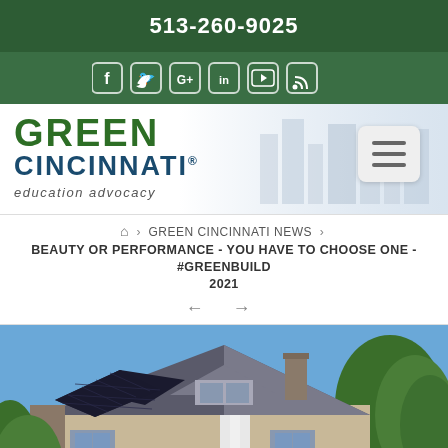513-260-9025
[Figure (other): Social media icons bar: Facebook, Twitter, Google+, LinkedIn, YouTube, RSS]
[Figure (logo): Green Cincinnati Education Advocacy logo with hamburger menu button]
HOME > GREEN CINCINNATI NEWS > BEAUTY OR PERFORMANCE - YOU HAVE TO CHOOSE ONE - #GREENBUILD 2021
[Figure (photo): Photo of a residential house with solar panels installed on the roof, surrounded by trees on a clear blue sky day.]